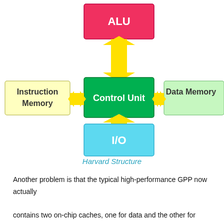[Figure (schematic): Harvard Structure block diagram showing ALU (red/pink box) at top, Control Unit (green box) in center, Instruction Memory (yellow-tinted box) on left, Data Memory (light green box) on right, and I/O (cyan box) at bottom. Double-headed yellow arrows connect Control Unit to each of the four surrounding blocks.]
Harvard Structure
Another problem is that the typical high-performance GPP now actually contains two on-chip caches, one for data and the other for instructions, which are directly connected to the processor core to speed up the access speed du...